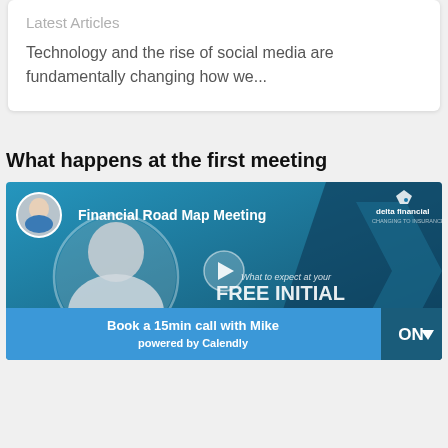Latest Articles
Technology and the rise of social media are fundamentally changing how we...
What happens at the first meeting
[Figure (screenshot): Video thumbnail for 'Financial Road Map Meeting' by Delta Financial. Shows a man in white shirt, circular frame, avatar top left, play button in center, text 'What to expect at your FREE INITIAL' partially visible, Delta Financial logo top right. Blue Calendly booking bar at bottom: 'Book a 15min call with Mike powered by Calendly'. Dark teal ON^ badge bottom right.]